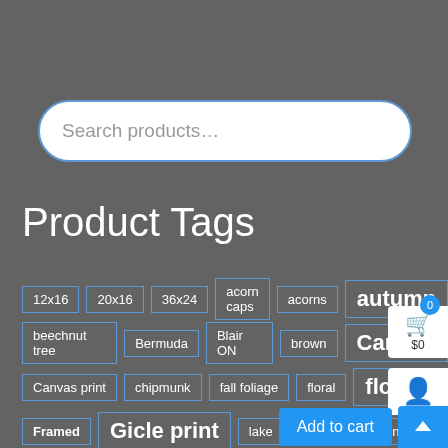[Figure (screenshot): Search bar with placeholder text 'Search products...' on dark grey background]
Product Tags
12x16, 20x16, 36x24, acorn caps, acorns, autumn
beechnut tree, Bermuda, Blair ON, brown, Canada
Canvas print, chipmunk, fall foliage, floral, florals
Framed, Gicle print, lake, mill, Newfoundland
Oil on Canvas, Silver..., Print...